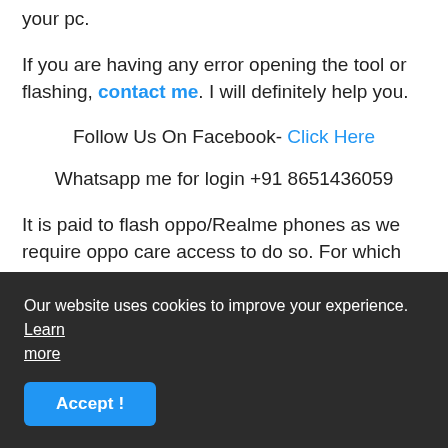your pc.
If you are having any error opening the tool or flashing, contact me. I will definitely help you.
Follow Us On Facebook- Click Here
Whatsapp me for login +91 8651436059
It is paid to flash oppo/Realme phones as we require oppo care access to do so. For which you can get in touch with me, you can ask the expense from the above WhatsApp number, I will ask your team viewer and flash my phone remotely.
Our website uses cookies to improve your experience. Learn more
Accept!
we're at gsmduniya.com will not be responsible for any